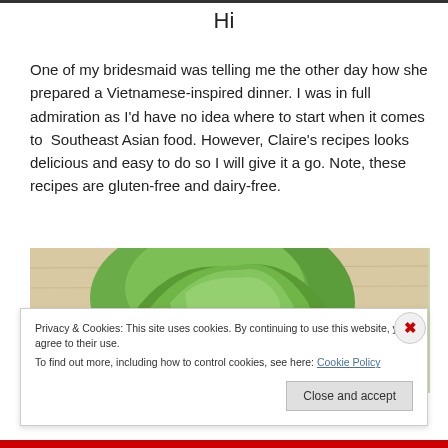Hi
One of my bridesmaid was telling me the other day how she prepared a Vietnamese-inspired dinner. I was in full admiration as I'd have no idea where to start when it comes to  Southeast Asian food. However, Claire's recipes looks delicious and easy to do so I will give it a go. Note, these recipes are gluten-free and dairy-free.
[Figure (photo): Photo of green lettuce/cabbage on a wooden surface]
Privacy & Cookies: This site uses cookies. By continuing to use this website, you agree to their use.
To find out more, including how to control cookies, see here: Cookie Policy